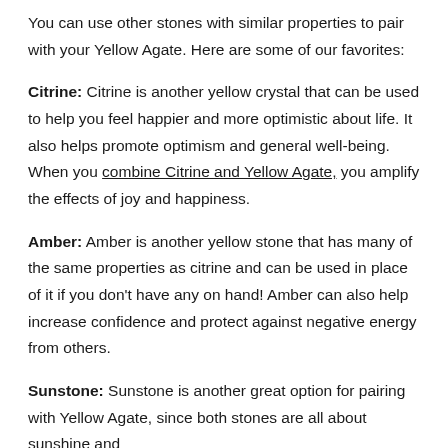You can use other stones with similar properties to pair with your Yellow Agate. Here are some of our favorites:
Citrine: Citrine is another yellow crystal that can be used to help you feel happier and more optimistic about life. It also helps promote optimism and general well-being. When you combine Citrine and Yellow Agate, you amplify the effects of joy and happiness.
Amber: Amber is another yellow stone that has many of the same properties as citrine and can be used in place of it if you don't have any on hand! Amber can also help increase confidence and protect against negative energy from others.
Sunstone: Sunstone is another great option for pairing with Yellow Agate, since both stones are all about sunshine and